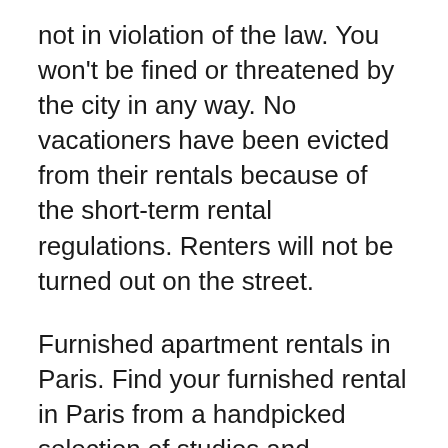not in violation of the law. You won't be fined or threatened by the city in any way. No vacationers have been evicted from their rentals because of the short-term rental regulations. Renters will not be turned out on the street.
Furnished apartment rentals in Paris. Find your furnished rental in Paris from a handpicked selection of studios and apartments. Make sure you get the best possible conditions when you rent your furnished Paris property. Benefit from our knowledge of the furnished rental market to ... RENT A CAR is one of the main car rental service in France, offering our services in over 300 locations. Whether you are visiting